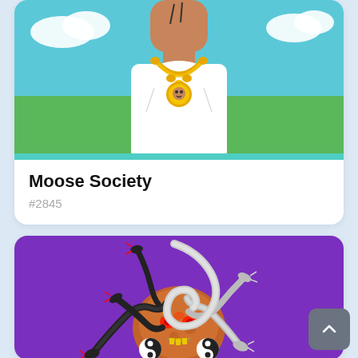[Figure (illustration): NFT card showing a cartoon character from the neck down wearing a white shirt and a large gold chain necklace with a coin pendant, set against a blue sky and green field background. Part of Moose Society NFT collection.]
Moose Society
#2845
[Figure (illustration): NFT card showing a Medusa figure with black and white snakes as hair, orange/brown face with red glowing eyes and golden teeth, yin-yang symbols at temples, set against a purple background.]